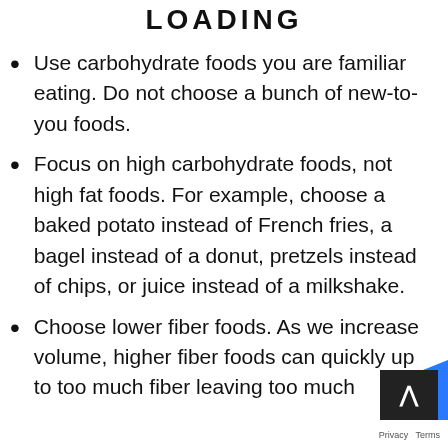LOADING
Use carbohydrate foods you are familiar eating. Do not choose a bunch of new-to-you foods.
Focus on high carbohydrate foods, not high fat foods. For example, choose a baked potato instead of French fries, a bagel instead of a donut, pretzels instead of chips, or juice instead of a milkshake.
Choose lower fiber foods. As we increase volume, higher fiber foods can quickly up to too much fiber leaving too much